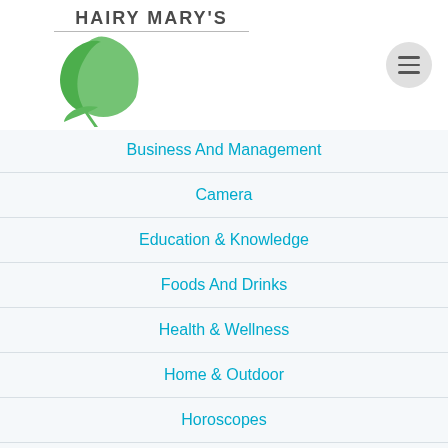[Figure (logo): Hairy Mary's logo with green leaf/plant graphic and text HAIRY MARY'S]
Business And Management
Camera
Education & Knowledge
Foods And Drinks
Health & Wellness
Home & Outdoor
Horoscopes
Life Style & Auto
Online Games